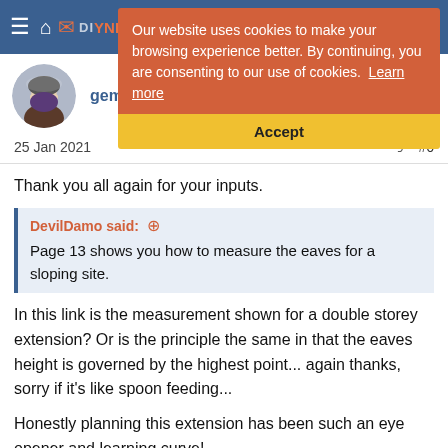Navigation bar with menu icon, home icon, and site icons
[Figure (screenshot): Cookie consent banner overlay: orange background with text 'Our website uses cookies to make your browsing experience better. By continuing, you are consenting to our use of cookies. Learn more' and yellow Accept button]
gemzyfish
25 Jan 2021	#6
Thank you all again for your inputs.
DevilDamo said: ↑
Page 13 shows you how to measure the eaves for a sloping site.
In this link is the measurement shown for a double storey extension? Or is the principle the same in that the eaves height is governed by the highest point... again thanks, sorry if it's like spoon feeding...
Honestly planning this extension has been such an eye opener and learning curve!